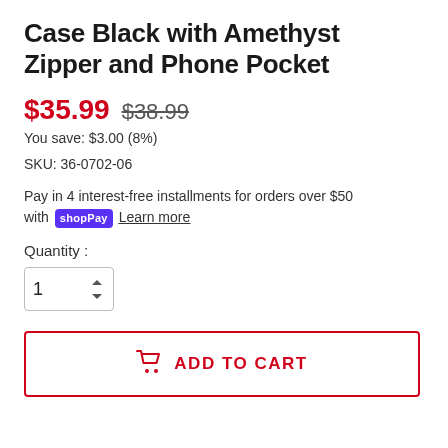Case Black with Amethyst Zipper and Phone Pocket
$35.99  $38.99
You save: $3.00 (8%)
SKU: 36-0702-06
Pay in 4 interest-free installments for orders over $50 with shop Pay Learn more
Quantity :
1
ADD TO CART